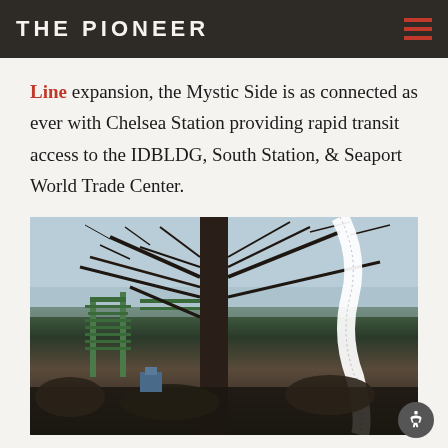THE PIONEER
Line expansion, the Mystic Side is as connected as ever with Chelsea Station providing rapid transit access to the IDBLDG, South Station, & Seaport World Trade Center.
[Figure (photo): View of the Tobin Bridge from Admirals Hill, showing bare winter trees in the foreground with a green bridge structure visible in the background, and a white banner/ribbon visible on the right side.]
View Of The Tobin from Admirals Hill,
Courtesy: Chelsey Finigan